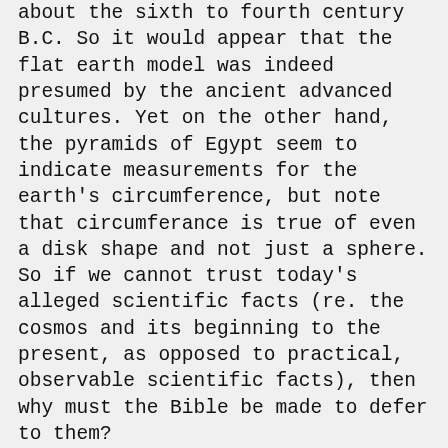about the sixth to fourth century B.C. So it would appear that the flat earth model was indeed presumed by the ancient advanced cultures. Yet on the other hand, the pyramids of Egypt seem to indicate measurements for the earth's circumference, but note that circumferance is true of even a disk shape and not just a sphere. So if we cannot trust today's alleged scientific facts (re. the cosmos and its beginning to the present, as opposed to practical, observable scientific facts), then why must the Bible be made to defer to them?
We should also be aware that there is growing evidence that NASA and equivalent space agencies around the world have been falsifying images. In spite of all our alleged technology, there is not one undisputed photo of the earth or any man-made satellites; all are either composite or CGI representations